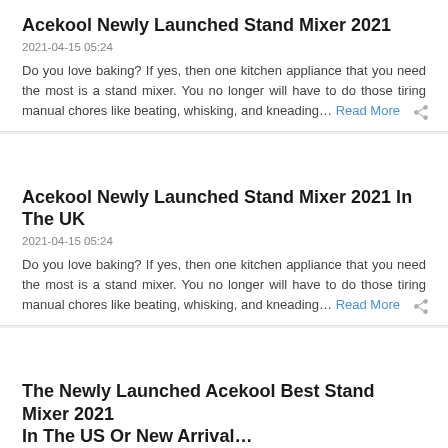Acekool Newly Launched Stand Mixer 2021
2021-04-15 05:24
Do you love baking? If yes, then one kitchen appliance that you need the most is a stand mixer. You no longer will have to do those tiring manual chores like beating, whisking, and kneading… Read More
Acekool Newly Launched Stand Mixer 2021 In The UK
2021-04-15 05:24
Do you love baking? If yes, then one kitchen appliance that you need the most is a stand mixer. You no longer will have to do those tiring manual chores like beating, whisking, and kneading… Read More
The Newly Launched Acekool Best Stand Mixer 2021 In The US Or New Arrival…